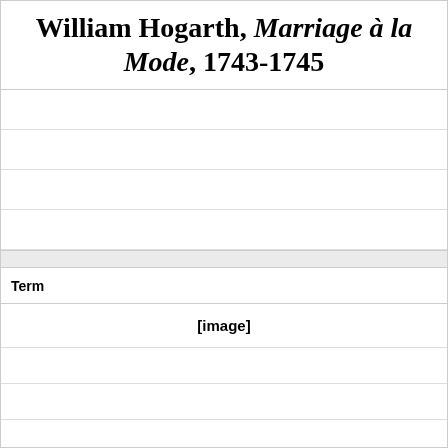William Hogarth, Marriage à la Mode, 1743-1745
| Term |
| --- |
| [image] |
|  |
|  |
|  |
|  |
|  |